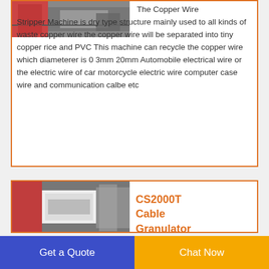[Figure (photo): Photo of a copper wire stripper machine in a factory setting, red metal frame visible]
The Copper Wire Stripper Machine is dry type structure mainly used to all kinds of waste copper wire the copper wire will be separated into tiny copper rice and PVC This machine can recycle the copper wire which diameterer is 0 3mm 20mm Automobile electrical wire or the electric wire of car motorcycle electric wire computer case wire and communication calbe etc
[Figure (photo): Photo of a CS2000T Cable Granulator machine, white and red machine in a factory]
CS2000T Cable Granulator